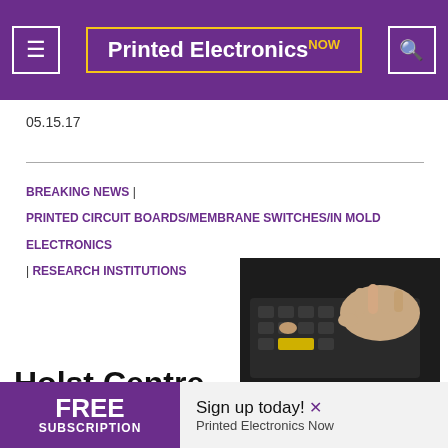Printed Electronics NOW
05.15.17
BREAKING NEWS | PRINTED CIRCUIT BOARDS/MEMBRANE SWITCHES/IN MOLD ELECTRONICS | RESEARCH INSTITUTIONS
[Figure (photo): Hand pressing buttons on a dark electronic keypad/membrane switch device]
Holst Centre Wins IDTechEx Printed Electronics Europe
FREE SUBSCRIPTION Sign up today! Printed Electronics Now